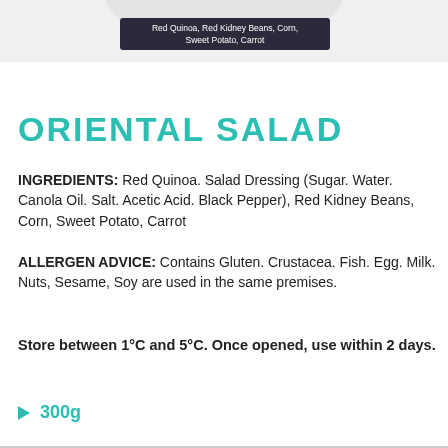[Figure (photo): Top portion of a food container label showing ingredients text on a dark banner: 'Red Quinoa, Red Kidney Beans, Corn, Sweet Potato, Carrot']
ORIENTAL SALAD
INGREDIENTS: Red Quinoa. Salad Dressing (Sugar. Water. Canola Oil. Salt. Acetic Acid. Black Pepper), Red Kidney Beans, Corn, Sweet Potato, Carrot
ALLERGEN ADVICE: Contains Gluten. Crustacea. Fish. Egg. Milk. Nuts, Sesame, Soy are used in the same premises.
Store between 1°C and 5°C. Once opened, use within 2 days.
▶ 300g